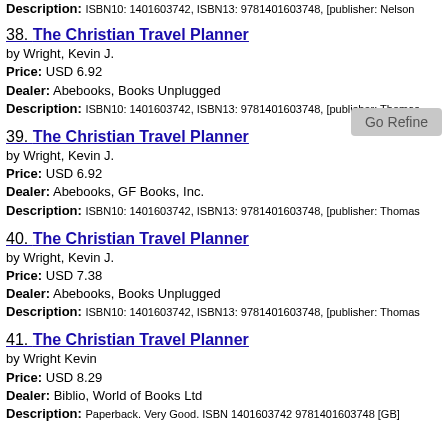Description: ISBN10: 1401603742, ISBN13: 9781401603748, [publisher: Nelson
38. The Christian Travel Planner
by Wright, Kevin J.
Price: USD 6.92
Dealer: Abebooks, Books Unplugged
Description: ISBN10: 1401603742, ISBN13: 9781401603748, [publisher: Thomas
39. The Christian Travel Planner
by Wright, Kevin J.
Price: USD 6.92
Dealer: Abebooks, GF Books, Inc.
Description: ISBN10: 1401603742, ISBN13: 9781401603748, [publisher: Thomas
40. The Christian Travel Planner
by Wright, Kevin J.
Price: USD 7.38
Dealer: Abebooks, Books Unplugged
Description: ISBN10: 1401603742, ISBN13: 9781401603748, [publisher: Thomas
41. The Christian Travel Planner
by Wright Kevin
Price: USD 8.29
Dealer: Biblio, World of Books Ltd
Description: Paperback. Very Good. ISBN 1401603742 9781401603748 [GB]